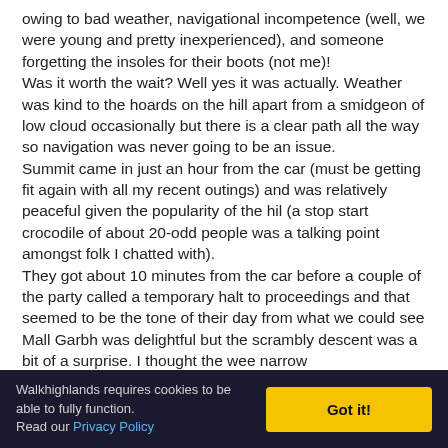owing to bad weather, navigational incompetence (well, we were young and pretty inexperienced), and someone forgetting the insoles for their boots (not me)! Was it worth the wait? Well yes it was actually. Weather was kind to the hoards on the hill apart from a smidgeon of low cloud occasionally but there is a clear path all the way so navigation was never going to be an issue. Summit came in just an hour from the car (must be getting fit again with all my recent outings) and was relatively peaceful given the popularity of the hil (a stop start crocodile of about 20-odd people was a talking point amongst folk I chatted with). They got about 10 minutes from the car before a couple of the party called a temporary halt to proceedings and that seemed to be the tone of their day from what we could see Mall Garbh was delightful but the scrambly descent was a bit of a surprise. I thought the wee narrow
Walkhighlands requires cookies to be able to fully function. Read our Privacy Policy  Got it!